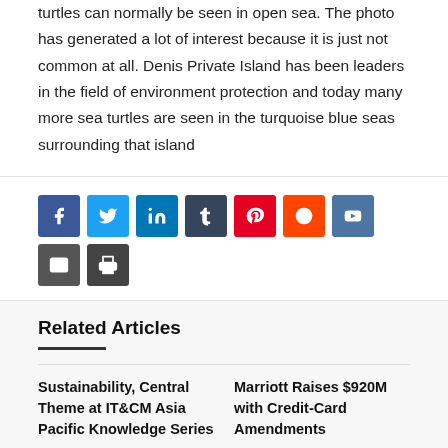turtles can normally be seen in open sea. The photo has generated a lot of interest because it is just not common at all. Denis Private Island has been leaders in the field of environment protection and today many more sea turtles are seen in the turquoise blue seas surrounding that island
[Figure (infographic): Social media share buttons: Facebook, Twitter, LinkedIn, Tumblr, Pinterest, Reddit, VK, Email, Print]
Related Articles
Sustainability, Central Theme at IT&CM Asia Pacific Knowledge Series
Marriott Raises $920M with Credit-Card Amendments